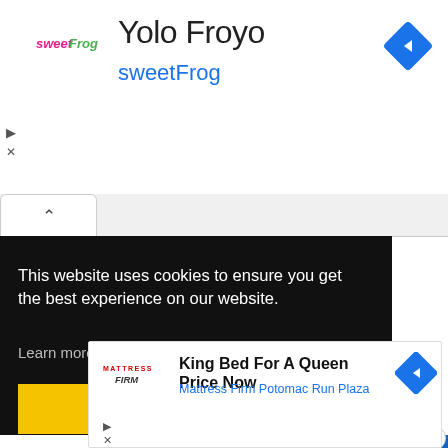Yolo Froyo
sweetFrog
[Figure (logo): sweetFrog logo (pink/green text)]
[Figure (other): Blue diamond navigation arrow icon]
This website uses cookies to ensure you get the best experience on our website. Learn more
Got it!
[Figure (other): Blue bar advertisement strip]
[Figure (logo): Mattress Firm logo]
King Bed For A Queen Price Now
Mattress Firm Potomac Run Plaza
[Figure (other): Blue diamond navigation arrow icon (bottom ad)]